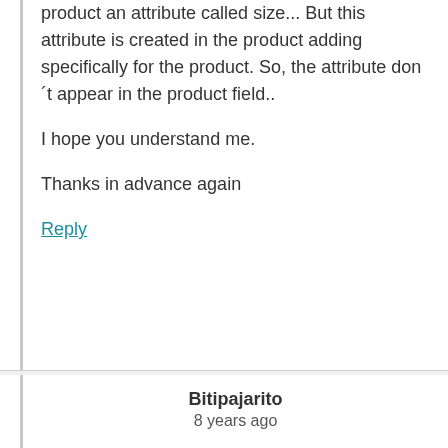product an attribute called size... But this attribute is created in the product adding specifically for the product. So, the attribute don´t appear in the product field..

I hope you understand me.

Thanks in advance again
Reply
Bitipajarito
8 years ago